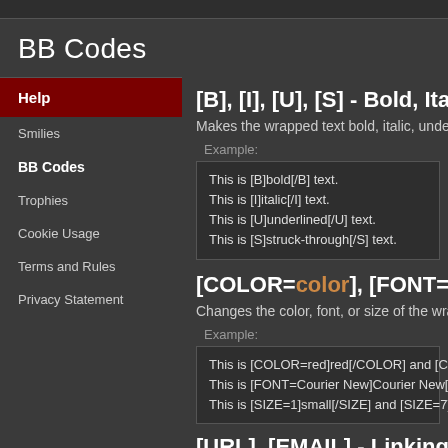BB Codes
Help
Smilies
BB Codes
Trophies
Cookie Usage
Terms and Rules
Privacy Statement
[B], [I], [U], [S] - Bold, Italics, Underline...
Makes the wrapped text bold, italic, underlin...
Example:
This is [B]bold[/B] text.
This is [I]italic[/I] text.
This is [U]underlined[/U] text.
This is [S]struck-through[/S] text.
[COLOR=color], [FONT=name], [S...
Changes the color, font, or size of the wrap...
Example:
This is [COLOR=red]red[/COLOR] and [CO...
This is [FONT=Courier New]Courier New[/...
This is [SIZE=1]small[/SIZE] and [SIZE=7]b...
[URL], [EMAIL] - Linking